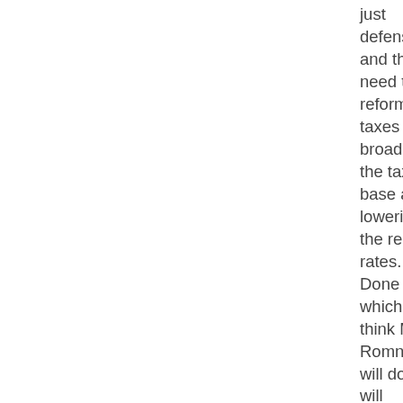just defense) and that we need to reform taxes by broadening the tax base and lowering the relative rates. Done right, which I think Mitt Romney will do, this will increase tax revenues while not discouraging